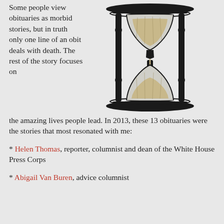Some people view obituaries as morbid stories, but in truth only one line of an obit deals with death. The rest of the story focuses on the amazing lives people lead. In 2013, these 13 obituaries were the stories that most resonated with me:
[Figure (illustration): Black and white detailed ink illustration of an hourglass with ornate wooden frame and columns, sand flowing from upper to lower bulb]
* Helen Thomas, reporter, columnist and dean of the White House Press Corps
* Abigail Van Buren, advice columnist